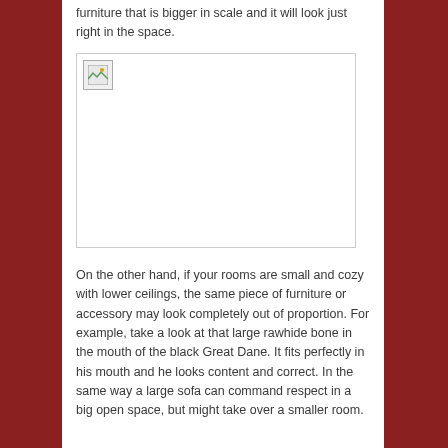furniture that is bigger in scale and it will look just right in the space.
[Figure (photo): A placeholder image (broken/missing image icon) within a bordered rectangle]
On the other hand, if your rooms are small and cozy with lower ceilings, the same piece of furniture or accessory may look completely out of proportion. For example, take a look at that large rawhide bone in the mouth of the black Great Dane. It fits perfectly in his mouth and he looks content and correct. In the same way a large sofa can command respect in a big open space, but might take over a smaller room.